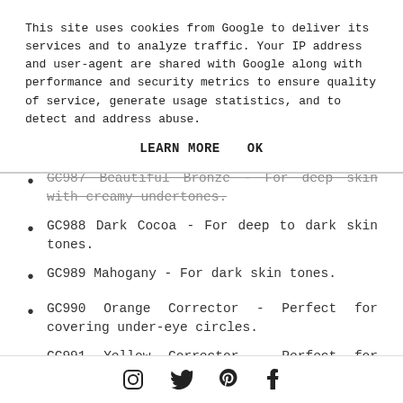This site uses cookies from Google to deliver its services and to analyze traffic. Your IP address and user-agent are shared with Google along with performance and security metrics to ensure quality of service, generate usage statistics, and to detect and address abuse.
LEARN MORE    OK
GC987 Beautiful Bronze - For deep skin with creamy undertones.
GC988 Dark Cocoa - For deep to dark skin tones.
GC989 Mahogany - For dark skin tones.
GC990 Orange Corrector - Perfect for covering under-eye circles.
GC991 Yellow Corrector - Perfect for covering discolouration and veins.
Social media icons: Instagram, Twitter, Pinterest, Facebook